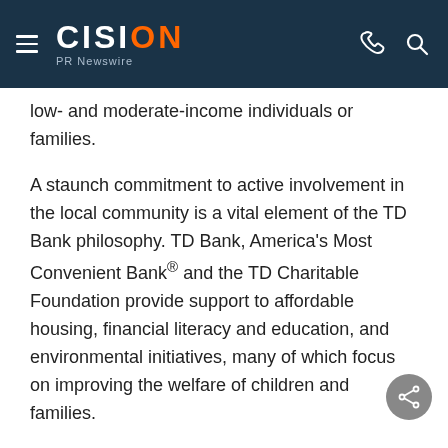CISION PR Newswire
low- and moderate-income individuals or families.
A staunch commitment to active involvement in the local community is a vital element of the TD Bank philosophy. TD Bank, America's Most Convenient Bank® and the TD Charitable Foundation provide support to affordable housing, financial literacy and education, and environmental initiatives, many of which focus on improving the welfare of children and families.
To learn more about the program and how the grants are making an impact in the community, videos about past winners are available at "Own Who You